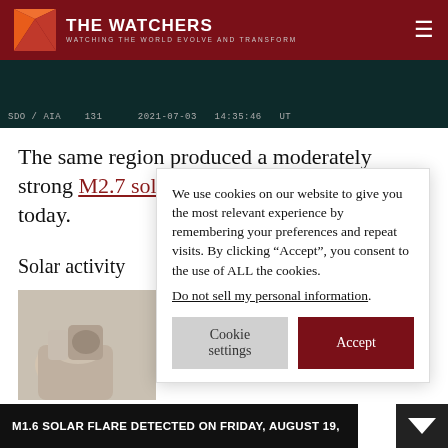THE WATCHERS — WATCHING THE WORLD EVOLVE AND TRANSFORM
[Figure (screenshot): SDO/AIA 131 solar image strip with timestamp 2021-07-03 14:35:46 UT on dark teal background]
The same region produced a moderately strong M2.7 solar flare at 07:17 UTC today.
Solar activity
[Figure (photo): Person's hand gripping a camera or similar device]
We use cookies on our website to give you the most relevant experience by remembering your preferences and repeat visits. By clicking "Accept", you consent to the use of ALL the cookies.
Do not sell my personal information.
M1.6 SOLAR FLARE DETECTED ON FRIDAY, AUGUST 19,